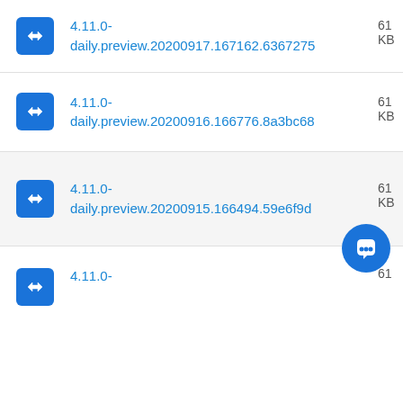4.11.0-daily.preview.20200917.167162.6367275   61 KB
4.11.0-daily.preview.20200916.166776.8a3bc68   61 KB
4.11.0-daily.preview.20200915.166494.59e6f9d   61 KB
4.11.0-   61